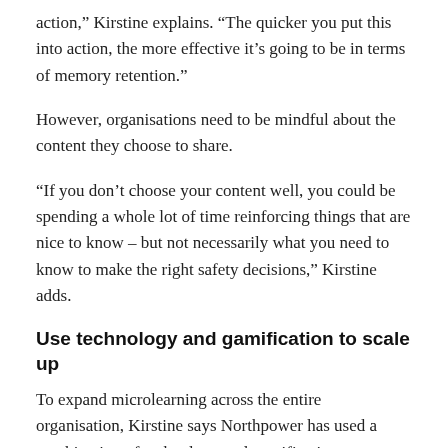action,” Kirstine explains. “The quicker you put this into action, the more effective it’s going to be in terms of memory retention.”
However, organisations need to be mindful about the content they choose to share.
“If you don’t choose your content well, you could be spending a whole lot of time reinforcing things that are nice to know – but not necessarily what you need to know to make the right safety decisions,” Kirstine adds.
Use technology and gamification to scale up
To expand microlearning across the entire organisation, Kirstine says Northpower has used a combination of technology and gamification.